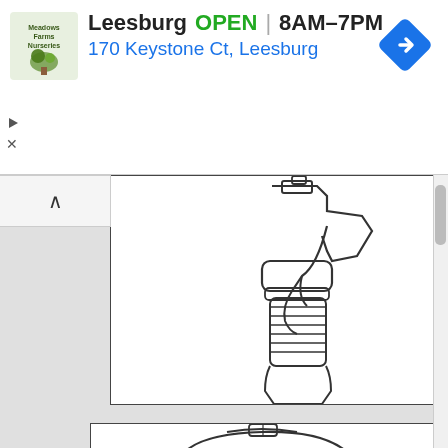[Figure (infographic): Advertisement banner for Meadows Farms Nurseries in Leesburg. Shows logo, 'Leesburg OPEN 8AM-7PM', '170 Keystone Ct, Leesburg', blue navigation diamond icon, play and close controls.]
[Figure (illustration): Line drawing of a spray bottle trigger mechanism showing the pump head, threaded collar, ribbed neck, and top portion of bottle body, cropped at top.]
[Figure (illustration): Line drawing of what appears to be a stapler or similar office/hardware tool, partially visible from the top, cropped at bottom of page.]